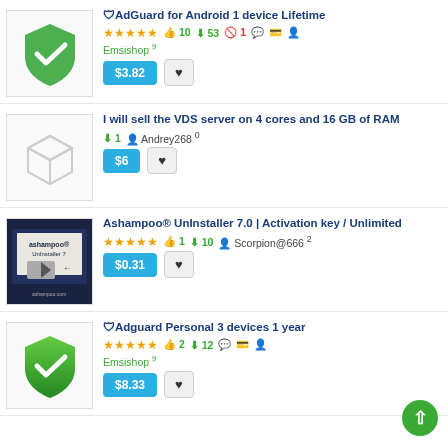🛡AdGuard for Android 1 device Lifetime — ★★★★★ 👍10 ⬇53 🚫1 — Emsishop⁹ — $3.82
I will sell the VDS server on 4 cores and 16 GB of RAM — ⬇1 Andrey268⁰ — $6
Ashampoo® UnInstaller 7.0 | Activation key / Unlimited — ★★★★★ 👍1 ⬇10 Scorpion@666² — $0.31
🛡Adguard Personal 3 devices 1 year — ★★★★★ 👍2 ⬇12 — Emsishop⁹ — $8.33